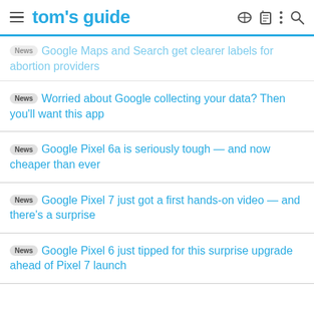tom's guide
News · Google Maps and Search get clearer labels for abortion providers
News · Worried about Google collecting your data? Then you'll want this app
News · Google Pixel 6a is seriously tough — and now cheaper than ever
News · Google Pixel 7 just got a first hands-on video — and there's a surprise
News · Google Pixel 6 just tipped for this surprise upgrade ahead of Pixel 7 launch